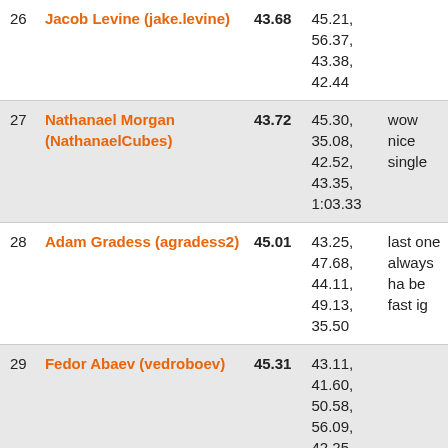| # | Name | Avg | Times | Comment |
| --- | --- | --- | --- | --- |
| 26 | Jacob Levine (jake.levine) | 43.68 | 45.21,
56.37,
43.38,
42.44 |  |
| 27 | Nathanael Morgan (NathanaelCubes) | 43.72 | 45.30,
35.08,
42.52,
43.35,
1:03.33 | wow nice single |
| 28 | Adam Gradess (agradess2) | 45.01 | 43.25,
47.68,
44.11,
49.13,
35.50 | last one always ha be fast ig |
| 29 | Fedor Abaev (vedroboev) | 45.31 | 43.11,
41.60,
50.58,
56.09,
42.25 |  |
|  | JuSTPEeLThESTiCkeRsOfF |  | 44.53,
46.77, |  |